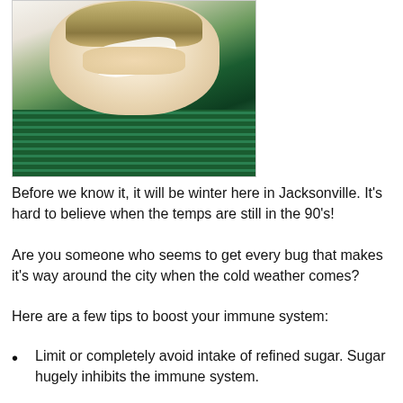[Figure (photo): Person with blonde hair blowing their nose into a white tissue, wearing a black and green striped sweater, photographed from above/front angle against a white background.]
Before we know it, it will be winter here in Jacksonville. It's hard to believe when the temps are still in the 90's!
Are you someone who seems to get every bug that makes it's way around the city when the cold weather comes?
Here are a few tips to boost your immune system:
Limit or completely avoid intake of refined sugar. Sugar hugely inhibits the immune system.